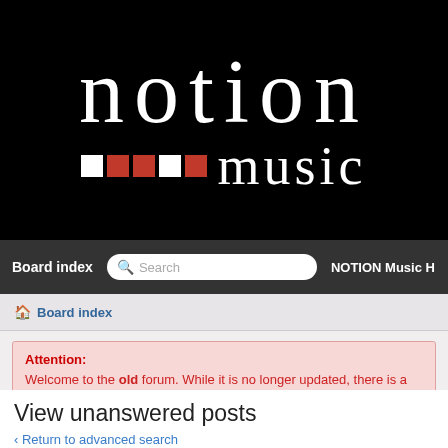[Figure (logo): Notion Music logo — large white serif text 'notion' above colored squares and 'music' text on black background]
Board index   Search   NOTION Music H
Board index
Attention:
Welcome to the old forum. While it is no longer updated, there is a wealth o

To partake in the current forum discussion, please visit https://forums.preson
View unanswered posts
Return to advanced search